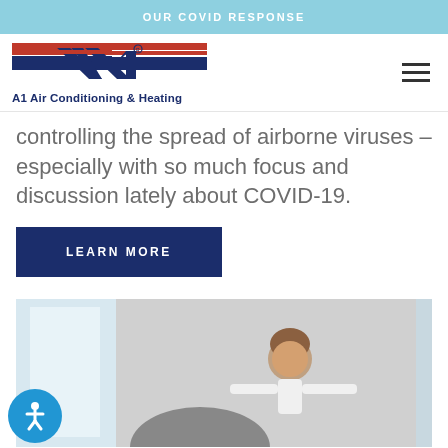OUR COVID RESPONSE
[Figure (logo): A1 Air Conditioning & Heating logo with red and blue stripes forming a stylized A1]
controlling the spread of airborne viruses – especially with so much focus and discussion lately about COVID-19.
LEARN MORE
[Figure (photo): A parent lifting a smiling child with arms outstretched in a bright indoor setting]